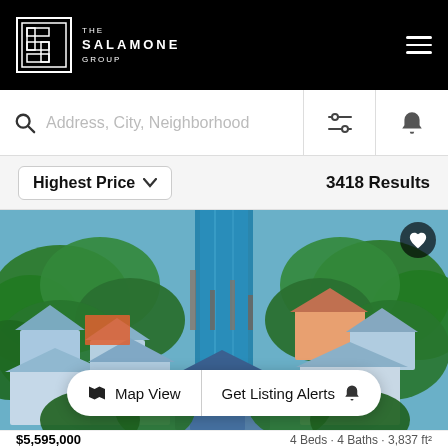THE SALAMONE GROUP
Address, City, Neighborhood
Highest Price   3418 Results
[Figure (photo): Aerial view of a waterfront neighborhood with a canal, tropical trees, and coastal homes with blue roofs.]
Map View   Get Listing Alerts
$5,595,000   4 Beds  4 Baths  3,837 ft²